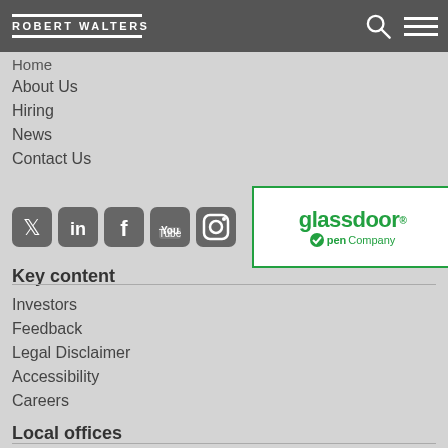Sitemap
[Figure (logo): Robert Walters logo in header bar with search icon and hamburger menu]
Home
About Us
Hiring
News
Contact Us
[Figure (illustration): Social media icons: Twitter, LinkedIn, Facebook, YouTube, Instagram and Glassdoor Open Company badge]
Key content
Investors
Feedback
Legal Disclaimer
Accessibility
Careers
Local offices